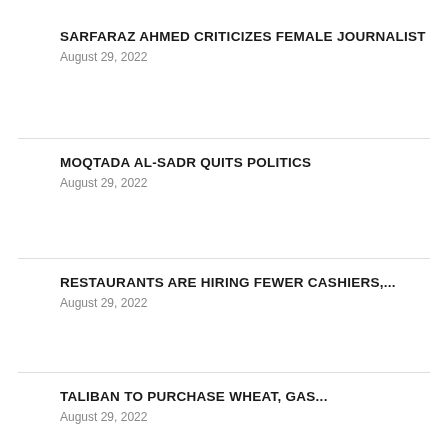SARFARAZ AHMED CRITICIZES FEMALE JOURNALIST
August 29, 2022
MOQTADA AL-SADR QUITS POLITICS
August 29, 2022
RESTAURANTS ARE HIRING FEWER CASHIERS,...
August 29, 2022
TALIBAN TO PURCHASE WHEAT, GAS...
August 29, 2022